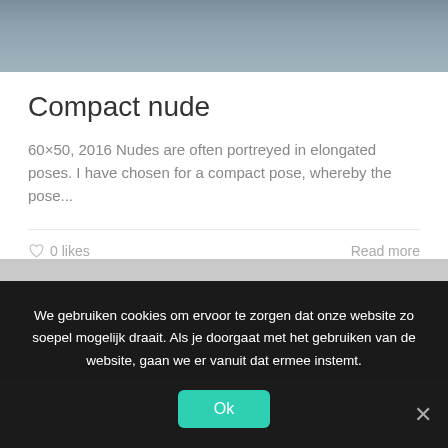[Figure (photo): Top portion of a painting/artwork image with grey-blue tones]
Compact nude
60×50, 2016 Nudes are often portreyed in elongated poses. I have chosen for a compact pose, whereby the pose...
0 likes   Read more
[Figure (photo): Bottom artwork image with grey tones, partially visible]
We gebruiken cookies om ervoor te zorgen dat onze website zo soepel mogelijk draait. Als je doorgaat met het gebruiken van de website, gaan we er vanuit dat ermee instemt.